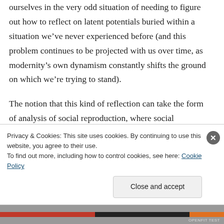ourselves in the very odd situation of needing to figure out how to reflect on latent potentials buried within a situation we’ve never experienced before (and this problem continues to be projected with us over time, as modernity’s own dynamism constantly shifts the ground on which we’re trying to stand).
The notion that this kind of reflection can take the form of analysis of social reproduction, where social reproduction is understood as
Privacy & Cookies: This site uses cookies. By continuing to use this website, you agree to their use.
To find out more, including how to control cookies, see here: Cookie Policy
Close and accept